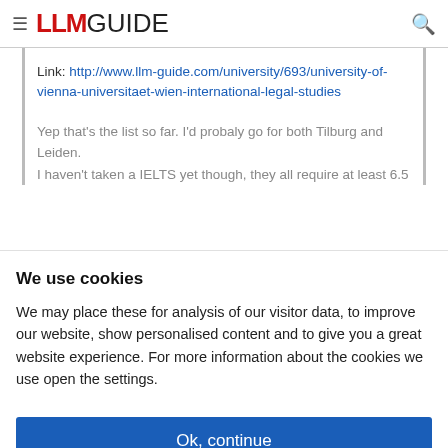LLM GUIDE
Link: http://www.llm-guide.com/university/693/university-of-vienna-universitaet-wien-international-legal-studies
Yep that's the list so far. I'd probaly go for both Tilburg and Leiden.
I haven't taken a IELTS yet though, they all require at least 6.5
We use cookies
We may place these for analysis of our visitor data, to improve our website, show personalised content and to give you a great website experience. For more information about the cookies we use open the settings.
Ok, continue
Deny
No, adjust